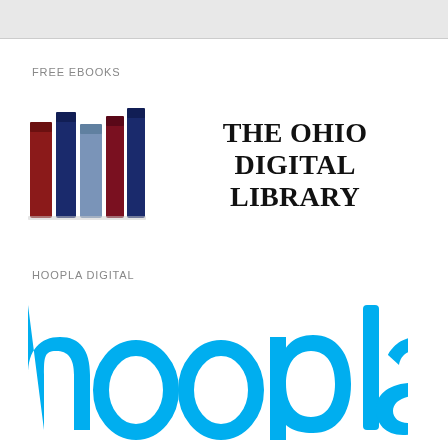FREE EBOOKS
[Figure (logo): The Ohio Digital Library logo: colorful vertical book spines (red, dark blue, light blue, dark red, dark navy) next to bold serif text reading THE OHIO DIGITAL LIBRARY]
HOOPLA DIGITAL
[Figure (logo): Hoopla digital logo: the word 'hoopla' in large cyan/sky-blue rounded sans-serif letters with a small TM superscript]